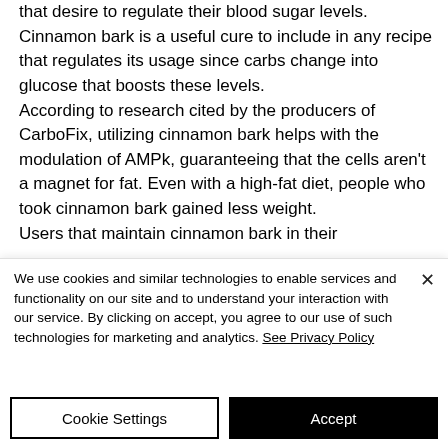that desire to regulate their blood sugar levels. Cinnamon bark is a useful cure to include in any recipe that regulates its usage since carbs change into glucose that boosts these levels. According to research cited by the producers of CarboFix, utilizing cinnamon bark helps with the modulation of AMPk, guaranteeing that the cells aren't a magnet for fat. Even with a high-fat diet, people who took cinnamon bark gained less weight. Users that maintain cinnamon bark in their
We use cookies and similar technologies to enable services and functionality on our site and to understand your interaction with our service. By clicking on accept, you agree to our use of such technologies for marketing and analytics. See Privacy Policy
Cookie Settings
Accept